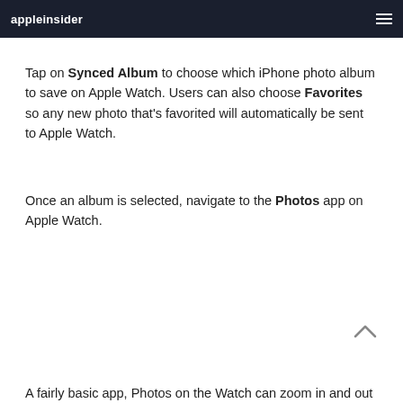appleinsider
Tap on Synced Album to choose which iPhone photo album to save on Apple Watch. Users can also choose Favorites so any new photo that's favorited will automatically be sent to Apple Watch.
Once an album is selected, navigate to the Photos app on Apple Watch.
A fairly basic app, Photos on the Watch can zoom in and out